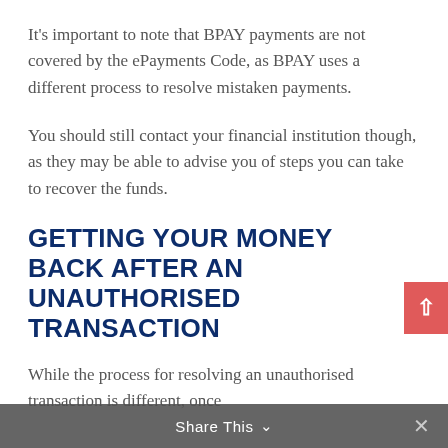It's important to note that BPAY payments are not covered by the ePayments Code, as BPAY uses a different process to resolve mistaken payments.
You should still contact your financial institution though, as they may be able to advise you of steps you can take to recover the funds.
GETTING YOUR MONEY BACK AFTER AN UNAUTHORISED TRANSACTION
While the process for resolving an unauthorised transaction is different, once